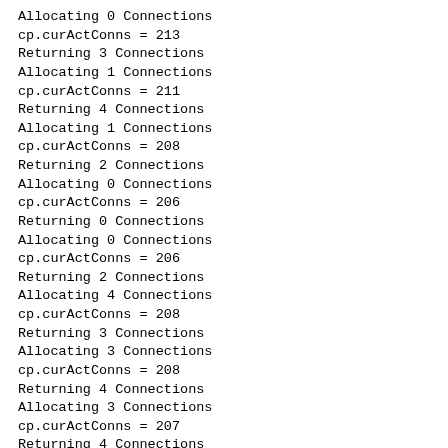Allocating 0 Connections
cp.curActConns = 213
Returning 3 Connections
Allocating 1 Connections
cp.curActConns = 211
Returning 4 Connections
Allocating 1 Connections
cp.curActConns = 208
Returning 2 Connections
Allocating 0 Connections
cp.curActConns = 206
Returning 0 Connections
Allocating 0 Connections
cp.curActConns = 206
Returning 2 Connections
Allocating 4 Connections
cp.curActConns = 208
Returning 3 Connections
Allocating 3 Connections
cp.curActConns = 208
Returning 4 Connections
Allocating 3 Connections
cp.curActConns = 207
Returning 4 Connections
Allocating 2 Connections
cp.curActConns = 205
Returning 2 Connections
Allocating 2 Connections
cp.curActConns = 205
Returning 1 Connections